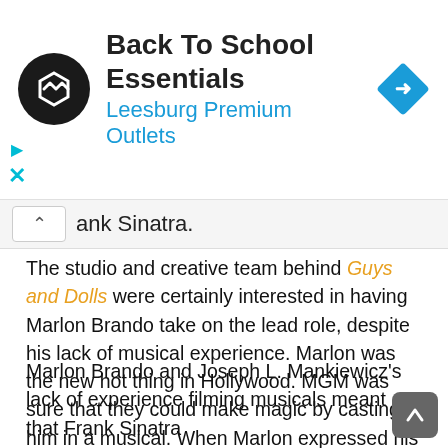[Figure (screenshot): Advertisement banner for 'Back To School Essentials' at Leesburg Premium Outlets, featuring a circular black logo with white arrows, blue navigation diamond icon, and cyan play/close controls on the left.]
ank Sinatra.
The studio and creative team behind Guys and Dolls were certainly interested in having Marlon Brando take on the lead role, despite his lack of musical experience. Marlon was the new hot thing in Hollywood. MGM was sure that they could make magic by casting him in a musical. When Marlon expressed his hesitance to take his role in the musical film, director Joseph L.
Marlon Brando and Joseph L. Mankiewicz's lack of experience filming musicals meant that Frank Sinatra